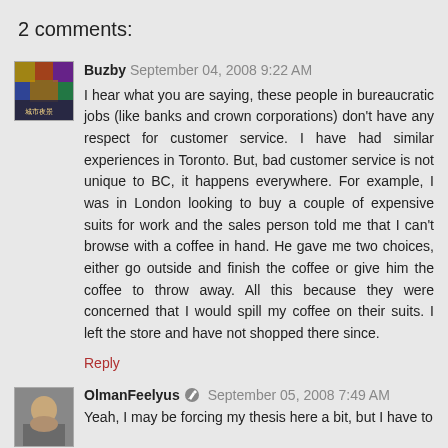2 comments:
Buzby September 04, 2008 9:22 AM
I hear what you are saying, these people in bureaucratic jobs (like banks and crown corporations) don't have any respect for customer service. I have had similar experiences in Toronto. But, bad customer service is not unique to BC, it happens everywhere. For example, I was in London looking to buy a couple of expensive suits for work and the sales person told me that I can't browse with a coffee in hand. He gave me two choices, either go outside and finish the coffee or give him the coffee to throw away. All this because they were concerned that I would spill my coffee on their suits. I left the store and have not shopped there since.
Reply
OlmanFeelyus September 05, 2008 7:49 AM
Yeah, I may be forcing my thesis here a bit, but I have to